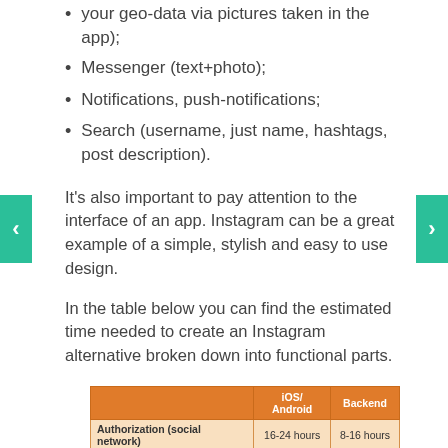your geo-data via pictures taken in the app);
Messenger (text+photo);
Notifications, push-notifications;
Search (username, just name, hashtags, post description).
It's also important to pay attention to the interface of an app. Instagram can be a great example of a simple, stylish and easy to use design.
In the table below you can find the estimated time needed to create an Instagram alternative broken down into functional parts.
|  | iOS/ Android | Backend |
| --- | --- | --- |
| Authorization (social network) | 16-24 hours | 8-16 hours |
| Authorization (E-mail) | 40-56 hours | 16-24 hours |